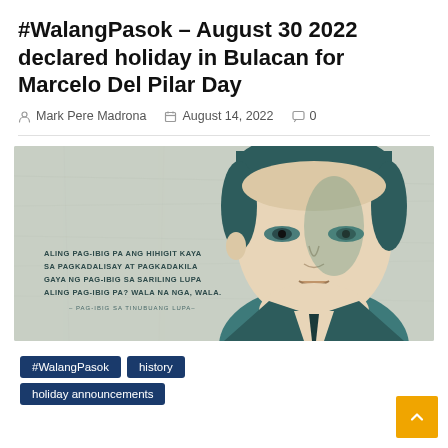#WalangPasok – August 30 2022 declared holiday in Bulacan for Marcelo Del Pilar Day
Mark Pere Madrona   August 14, 2022   0
[Figure (illustration): Illustrated portrait of Marcelo Del Pilar in a teal/green graphic style with a quote from Pag-ibig sa Tinubuang Lupa: 'Aling pag-ibig pa ang hihigit kaya sa pagkadalisay at pagkadakila gaya ng pag-ibig sa sariling lupa aling pag-ibig pa? Wala na nga, wala.' on a crumpled paper texture background.]
#WalangPasok
history
holiday announcements